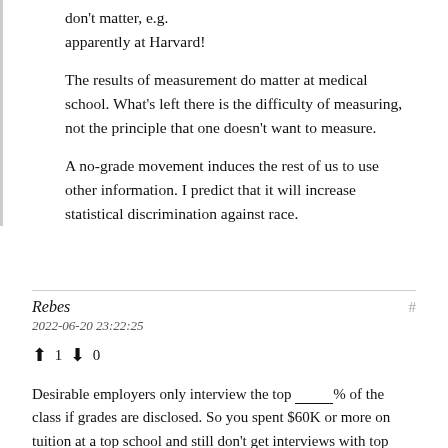don't matter, e.g. apparently at Harvard!

The results of measurement do matter at medical school. What's left there is the difficulty of measuring, not the principle that one doesn't want to measure.

A no-grade movement induces the rest of us to use other information. I predict that it will increase statistical discrimination against race.
Rebes
2022-06-20 23:22:25
↑ 1 ↓ 0
Desirable employers only interview the top ___% of the class if grades are disclosed. So you spent $60K or more on tuition at a top school and still don't get interviews with top employers. The non-disclosure is a way of protecting the investment by the 100 – %.